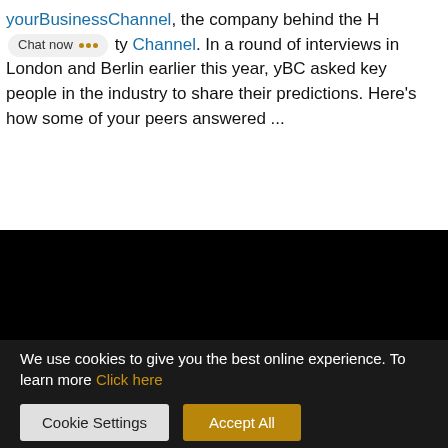yourBusinessChannel, the company behind the H [Chat now] ty Channel. In a round of interviews in London and Berlin earlier this year, yBC asked key people in the industry to share their predictions. Here's how some of your peers answered ...
[Figure (screenshot): Black video player area showing error message: Cannot load playlist.<br/> This]
We use cookies to give you the best online experience. To learn more Click here